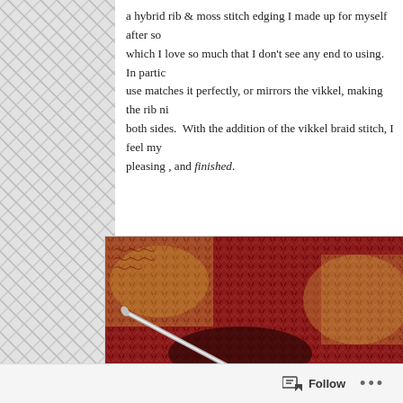a hybrid rib & moss stitch edging I made up for myself after so… which I love so much that I don't see any end to using. In partic… use matches it perfectly, or mirrors the vikkel, making the rib ni… both sides. With the addition of the vikkel braid stitch, I feel my… pleasing , and finished.
[Figure (photo): Close-up photograph of red and gold variegated knitting on needles, showing a hybrid rib and moss stitch edging with vikkel braid stitch. Circular metal knitting needles are visible holding stitches.]
Follow ···